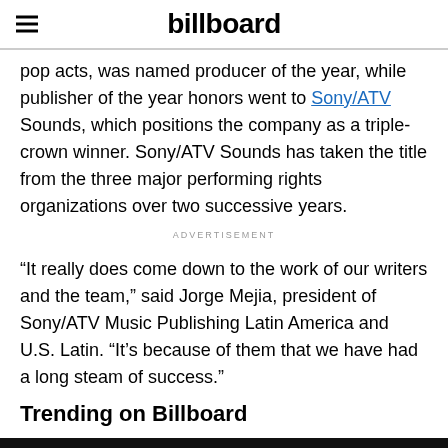billboard
pop acts, was named producer of the year, while publisher of the year honors went to Sony/ATV Sounds, which positions the company as a triple-crown winner. Sony/ATV Sounds has taken the title from the three major performing rights organizations over two successive years.
ADVERTISEMENT
“It really does come down to the work of our writers and the team,” said Jorge Mejia, president of Sony/ATV Music Publishing Latin America and U.S. Latin. “It’s because of them that we have had a long steam of success.”
Trending on Billboard